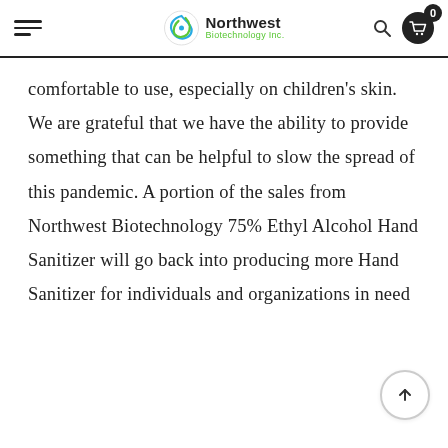Northwest Biotechnology Inc. — navigation header with logo, search, and cart (0 items)
comfortable to use, especially on children's skin. We are grateful that we have the ability to provide something that can be helpful to slow the spread of this pandemic. A portion of the sales from Northwest Biotechnology 75% Ethyl Alcohol Hand Sanitizer will go back into producing more Hand Sanitizer for individuals and organizations in need